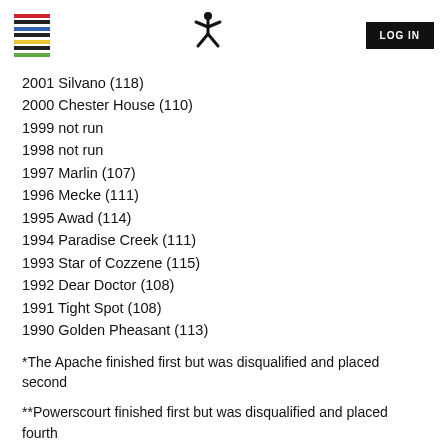LOG IN
2001 Silvano (118)
2000 Chester House (110)
1999 not run
1998 not run
1997 Marlin (107)
1996 Mecke (111)
1995 Awad (114)
1994 Paradise Creek (111)
1993 Star of Cozzene (115)
1992 Dear Doctor (108)
1991 Tight Spot (108)
1990 Golden Pheasant (113)
*The Apache finished first but was disqualified and placed second
**Powerscourt finished first but was disqualified and placed fourth